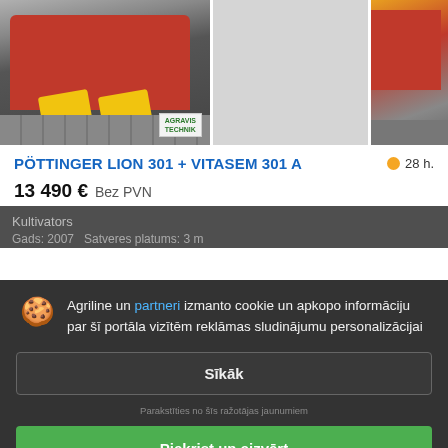[Figure (photo): Three agricultural machine photos in a row: main large photo of red Pöttinger cultivator/seeder combination with yellow components on grey pavement with AGRAVIS TECHNIK badge, middle photo (grey/blank), right photo partially visible red machine]
PÖTTINGER LION 301 + VITASEM 301 A
28 h.
13 490 €  Bez PVN
Kultivators
Gads: 2007   Satveres platums: 3 m
Agriline un partneri izmanto cookie un apkopo informāciju par šī portāla vizītēm reklāmas sludinājumu personalizācijai
Sīkāk
Parakstīties no šīs ražotājas jaunumiem
Piekrist un aizvērt
Nokopēt saiti   Dalīties